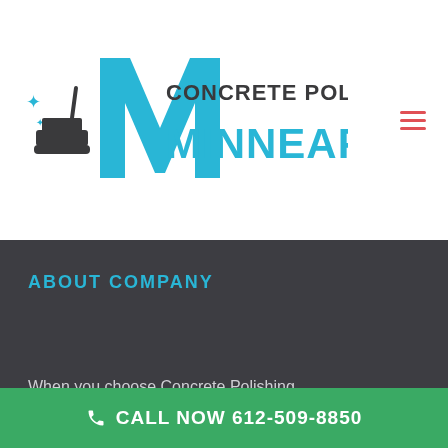[Figure (logo): Concrete Polishing Minneapolis logo with stylized M and polishing machine icon in cyan/teal and dark grey colors]
[Figure (other): Hamburger menu icon with three horizontal red/salmon lines]
ABOUT COMPANY
When you choose Concrete Polishing
CALL NOW 612-509-8850